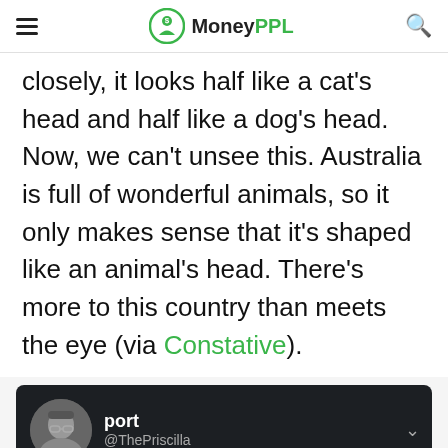MoneyPPL
closely, it looks half like a cat's head and half like a dog's head. Now, we can't unsee this. Australia is full of wonderful animals, so it only makes sense that it's shaped like an animal's head. There's more to this country than meets the eye (via Constative).
[Figure (screenshot): Twitter/social media card showing user 'port' with handle @ThePriscilla on dark background]
Advertisement
[Figure (screenshot): Advertisement banner for BitLife - Life Simulator with Install button]